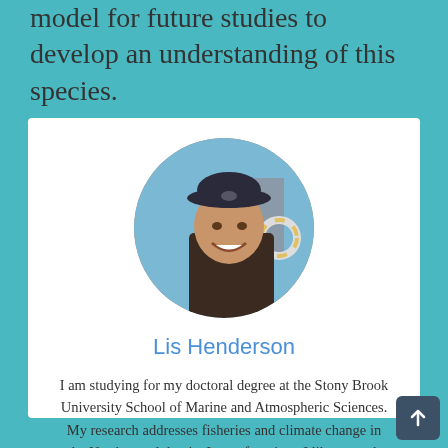model for future studies to develop an understanding of this species.
[Figure (photo): Circular profile photo of Lis Henderson, a woman wearing a dark cap, smiling on what appears to be a boat with ocean in the background.]
Lis Henderson
I am studying for my doctoral degree at the Stony Brook University School of Marine and Atmospheric Sciences. My research addresses fisheries and climate change in the Northwest Atlantic. In my free time, I like to cook and spend time outdoors, sometimes at the same time.